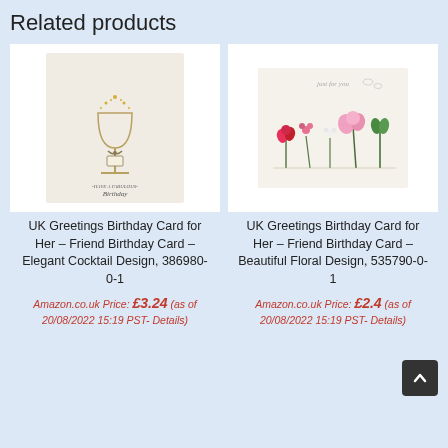Related products
[Figure (photo): Birthday card with elegant cocktail glass design with gold sparkles and ribbon, text reads HAVE A FABULOUS Birthday]
UK Greetings Birthday Card for Her – Friend Birthday Card – Elegant Cocktail Design, 386980-0-1
Amazon.co.uk Price: £3.24 (as of 20/08/2022 15:19 PST- Details)
[Figure (photo): Birthday card with beautiful floral design showing pressed flowers and text just for you]
UK Greetings Birthday Card for Her – Friend Birthday Card – Beautiful Floral Design, 535790-0-1
Amazon.co.uk Price: £2.4 (as of 20/08/2022 15:19 PST- Details)